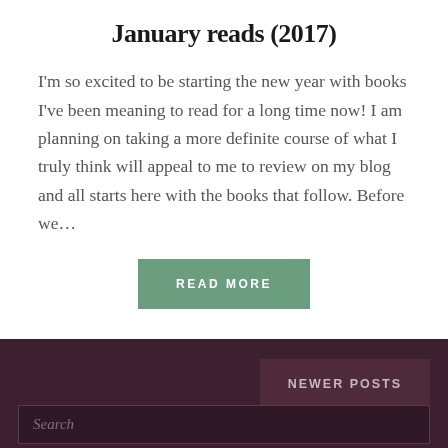January reads (2017)
I'm so excited to be starting the new year with books I've been meaning to read for a long time now! I am planning on taking a more definite course of what I truly think will appeal to me to review on my blog and all starts here with the books that follow. Before we…
READ MORE
NEWER POSTS
Search